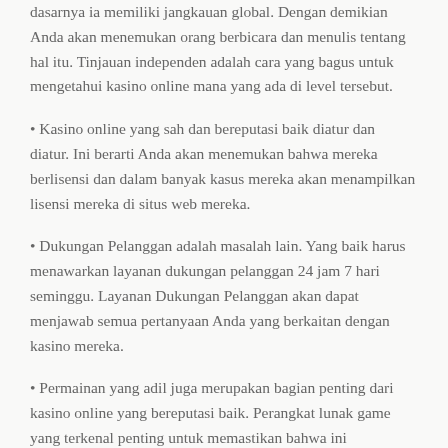dasarnya ia memiliki jangkauan global. Dengan demikian Anda akan menemukan orang berbicara dan menulis tentang hal itu. Tinjauan independen adalah cara yang bagus untuk mengetahui kasino online mana yang ada di level tersebut.
• Kasino online yang sah dan bereputasi baik diatur dan diatur. Ini berarti Anda akan menemukan bahwa mereka berlisensi dan dalam banyak kasus mereka akan menampilkan lisensi mereka di situs web mereka.
• Dukungan Pelanggan adalah masalah lain. Yang baik harus menawarkan layanan dukungan pelanggan 24 jam 7 hari seminggu. Layanan Dukungan Pelanggan akan dapat menjawab semua pertanyaan Anda yang berkaitan dengan kasino mereka.
• Permainan yang adil juga merupakan bagian penting dari kasino online yang bereputasi baik. Perangkat lunak game yang terkenal penting untuk memastikan bahwa ini masalahnya. Microgaming adalah platform permainan yang sangat terkenal yang digunakan oleh kasino.